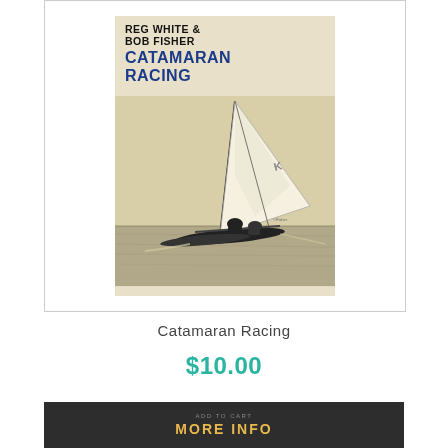[Figure (photo): Book cover of 'Catamaran Racing' by Reg White & Bob Fisher, showing a black and white photo of a catamaran sailboat racing on water with two crew members, large white sail visible. Cover has cream/beige background with bold black text for author names and blue text for title.]
Catamaran Racing
$10.00
MORE INFO